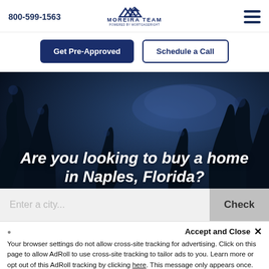800-599-1563 | Moreira Team Powered by MortgageRight
Get Pre-Approved | Schedule a Call
[Figure (photo): Night-time hero image of trees against a dark blue sky, with bold italic white text overlay reading: Are you looking to buy a home in Naples, Florida?]
Enter a city...   Check
Accept and Close ✕
Your browser settings do not allow cross-site tracking for advertising. Click on this page to allow AdRoll to use cross-site tracking to tailor ads to you. Learn more or opt out of this AdRoll tracking by clicking here. This message only appears once.